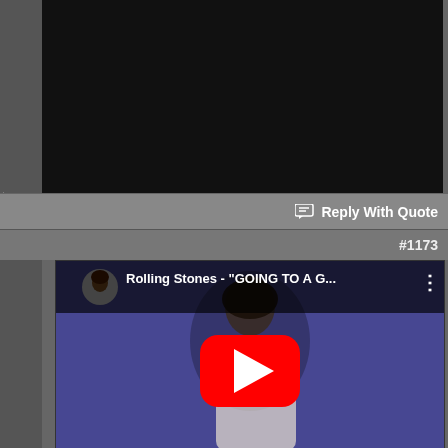[Figure (screenshot): Dark/black background area, top section of a forum post]
ts
Reply With Quote
#1173
[Figure (screenshot): YouTube video embed thumbnail showing Rolling Stones - 'GOING TO A G...' with a person playing guitar and the YouTube play button overlay]